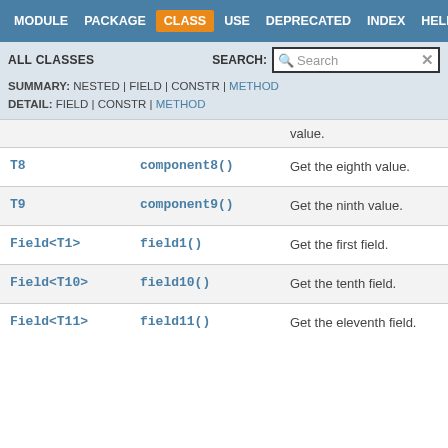MODULE  PACKAGE  CLASS  USE  DEPRECATED  INDEX  HELP
ALL CLASSES   SEARCH:
SUMMARY: NESTED | FIELD | CONSTR | METHOD
DETAIL: FIELD | CONSTR | METHOD
| Type | Method | Description |
| --- | --- | --- |
|  |  | value. |
| T8 | component8() | Get the eighth value. |
| T9 | component9() | Get the ninth value. |
| Field<T1> | field1() | Get the first field. |
| Field<T10> | field10() | Get the tenth field. |
| Field<T11> | field11() | Get the eleventh field. |